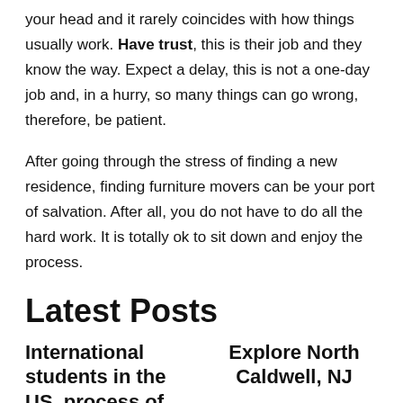your head and it rarely coincides with how things usually work. Have trust, this is their job and they know the way. Expect a delay, this is not a one-day job and, in a hurry, so many things can go wrong, therefore, be patient.
After going through the stress of finding a new residence, finding furniture movers can be your port of salvation. After all, you do not have to do all the hard work. It is totally ok to sit down and enjoy the process.
Latest Posts
International students in the US, process of
Explore North Caldwell, NJ